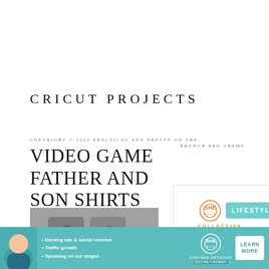CRICUT PROJECTS
COPYRIGHT © 2022 PRACTICAL AND PRETTY ON THE BRUNCH PRO THEME
VIDEO GAME FATHER AND SON SHIRTS WITH YOUR CRICUT
PAPER CHAIN COUNTDOWN FOR ANY OCCASION
[Figure (screenshot): SHE Media Collective Lifestyle ad overlay with logo, teal Lifestyle button, Learn More | Privacy text, and play icon]
[Figure (photo): Photo thumbnail of video game themed shirts with controller graphics]
[Figure (photo): Photo thumbnail of paper chain countdown items]
[Figure (infographic): SHE Partner Network bottom banner advertisement with avatar, bullet points about earning site and social revenue, traffic growth, speaking on stages, SHE logo, and Learn More button]